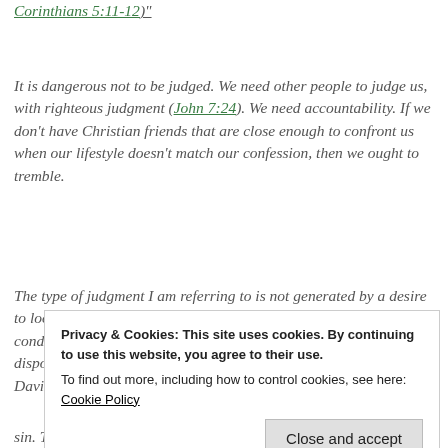Corinthians 5:11-12)"
It is dangerous not to be judged. We need other people to judge us, with righteous judgment (John 7:24). We need accountability. If we don't have Christian friends that are close enough to confront us when our lifestyle doesn't match our confession, then we ought to tremble.
The type of judgment I am referring to is not generated by a desire to look down on others for the sake of feeling superior—a condescending disposition. Rather, it comes from a tender disposition of love. It comes from a Nathan who is willing to tell David to repent and turn to God (2
Privacy & Cookies: This site uses cookies. By continuing to use this website, you agree to their use. To find out more, including how to control cookies, see here: Cookie Policy
sin. This is grace!